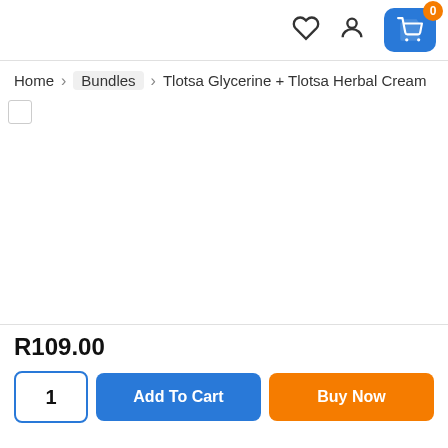Header navigation with heart icon, user icon, and cart button showing 0 items
Home > Bundles > Tlotsa Glycerine + Tlotsa Herbal Cream
[Figure (other): Product image area (mostly blank/white with small image placeholder top-left)]
R109.00
1  Add To Cart  Buy Now